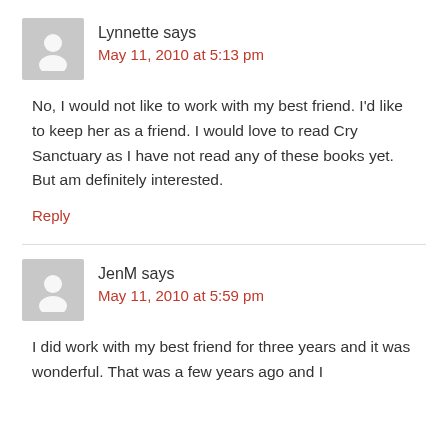Lynnette says
May 11, 2010 at 5:13 pm
No, I would not like to work with my best friend. I'd like to keep her as a friend. I would love to read Cry Sanctuary as I have not read any of these books yet. But am definitely interested.
Reply
JenM says
May 11, 2010 at 5:59 pm
I did work with my best friend for three years and it was wonderful. That was a few years ago and I